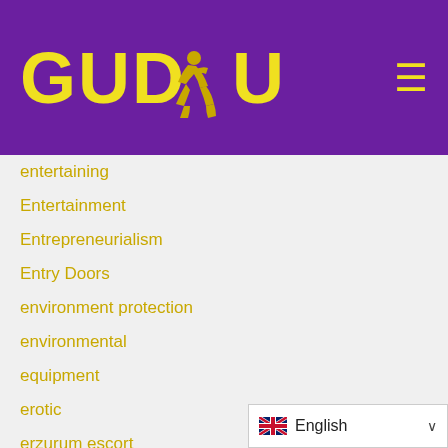[Figure (logo): GUDU logo with yellow text and running figure on purple background, with hamburger menu icon]
entertaining
Entertainment
Entrepreneurialism
Entry Doors
environment protection
environmental
equipment
erotic
erzurum escort
escort
escort bayan
escort girl
[Figure (other): Language selector showing UK flag and 'English' with dropdown arrow]